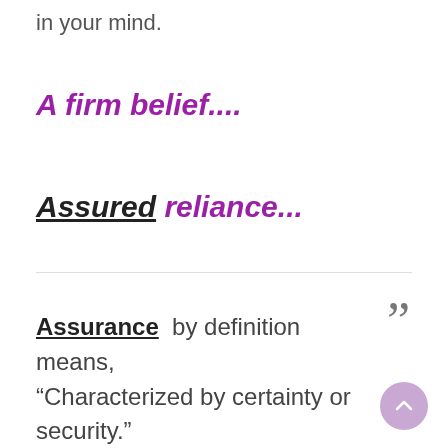in your mind.
A firm belief....
Assured reliance...
Assurance  by definition means, “Characterized by certainty or security.”